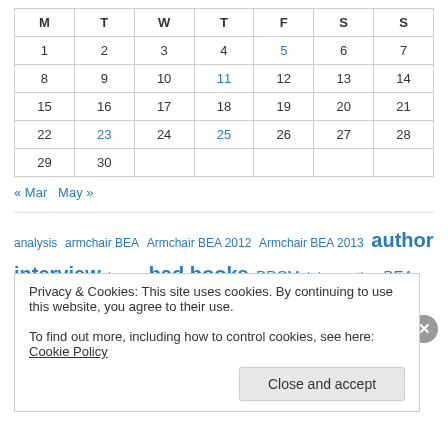| M | T | W | T | F | S | S |
| --- | --- | --- | --- | --- | --- | --- |
| 1 | 2 | 3 | 4 | 5 | 6 | 7 |
| 8 | 9 | 10 | 11 | 12 | 13 | 14 |
| 15 | 16 | 17 | 18 | 19 | 20 | 21 |
| 22 | 23 | 24 | 25 | 26 | 27 | 28 |
| 29 | 30 |  |  |  |  |  |
« Mar   May »
analysis armchair BEA Armchair BEA 2012 Armchair BEA 2013 author interview bacon bad books BDSM bdsm erotica BEA beauty book
Privacy & Cookies: This site uses cookies. By continuing to use this website, you agree to their use. To find out more, including how to control cookies, see here: Cookie Policy
Close and accept